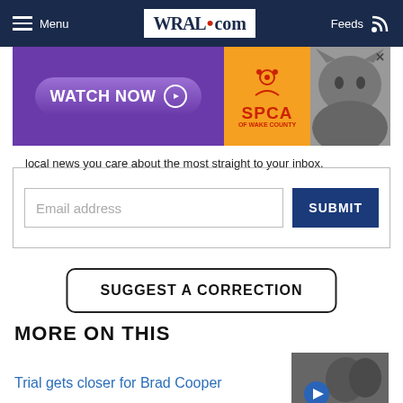Menu | WRAL.com | Feeds
[Figure (screenshot): SPCA of Wake County ad banner with 'WATCH NOW' button and cat photo]
local news you care about the most straight to your inbox.
Email address  SUBMIT
SUGGEST A CORRECTION
MORE ON THIS
Trial gets closer for Brad Cooper